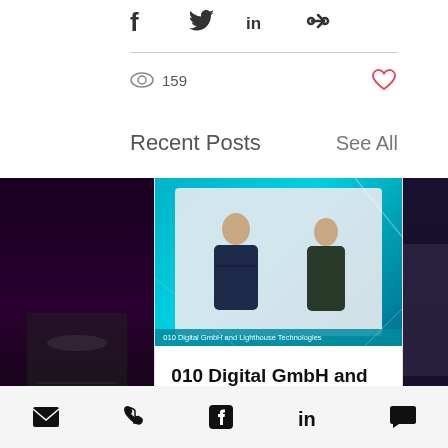[Figure (screenshot): Social share icons: Facebook, Twitter, LinkedIn, link]
159
Recent Posts
See All
[Figure (photo): 010 Digital GmbH and Lighthouse Technologies post thumbnail with two men in suits on a teal background]
010 Digital GmbH and Lighthouse...
Email, Phone, Facebook, LinkedIn, Comment icons